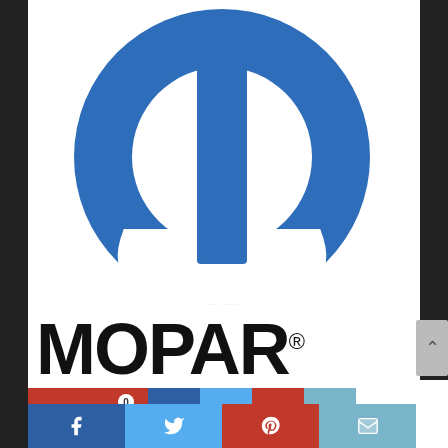[Figure (logo): Mopar logo: blue circular ring with M-shaped cutout and a vertical blue bar in the center, on white background]
MOPAR®
[Figure (infographic): Social sharing buttons: Save (heart icon, count 0), Facebook, Twitter, Pinterest, Email]
Finding your suitable readers for mogear
[Figure (infographic): Bottom footer bar with Facebook, Twitter, Pinterest, and Email social sharing icons]